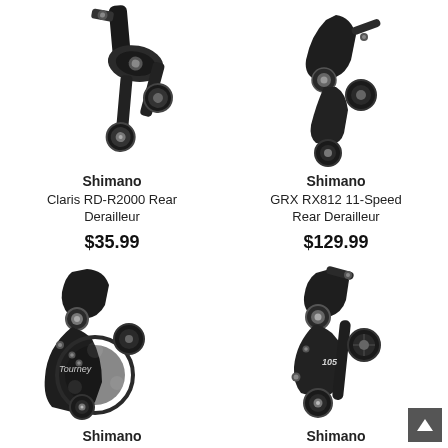[Figure (photo): Shimano Claris RD-R2000 Rear Derailleur product photo, black bicycle component]
Shimano
Claris RD-R2000 Rear Derailleur
$35.99
[Figure (photo): Shimano GRX RX812 11-Speed Rear Derailleur product photo, black bicycle component]
Shimano
GRX RX812 11-Speed Rear Derailleur
$129.99
[Figure (photo): Shimano Tourney rear derailleur product photo, black bicycle component with large pulley cage]
Shimano
[Figure (photo): Shimano 105 rear derailleur product photo, black bicycle component]
Shimano